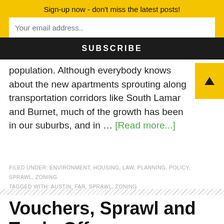Sign-up now - don't miss the latest posts!
Your email address..
SUBSCRIBE
population. Although everybody knows about the new apartments sprouting along transportation corridors like South Lamar and Burnet, much of the growth has been in our suburbs, and in … [Read more...]
FILED UNDER: ENVIRONMENT, HOUSING, LAW, PLANNING, POLICY, SPRAWL, ZONING
TAGGED WITH: AUSTIN, FAR, SPRAWL, ZONING
Vouchers, Sprawl and Trade-Offs